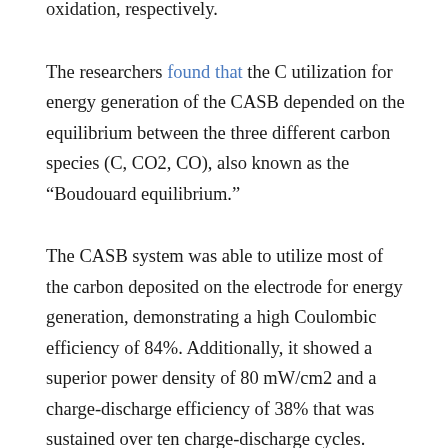oxidation, respectively.
The researchers found that the C utilization for energy generation of the CASB depended on the equilibrium between the three different carbon species (C, CO2, CO), also known as the “Boudouard equilibrium.”
The CASB system was able to utilize most of the carbon deposited on the electrode for energy generation, demonstrating a high Coulombic efficiency of 84%. Additionally, it showed a superior power density of 80 mW/cm2 and a charge-discharge efficiency of 38% that was sustained over ten charge-discharge cycles. Compared to hydrogen storage systems, the CASB system is expected to have a smaller system size and higher system efficiency.
The researchers will continue to improve and develop the system to increase efficiency. Their new system could lay the